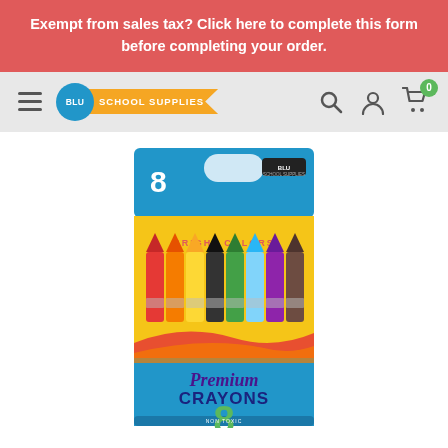Exempt from sales tax? Click here to complete this form before completing your order.
[Figure (screenshot): Blu School Supplies navigation bar with hamburger menu, logo, search icon, account icon, and cart icon with 0 badge]
[Figure (photo): Box of 8 Premium Crayons with bright colors, yellow and blue packaging showing 8 colorful crayons]